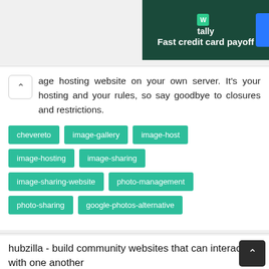[Figure (screenshot): Tally app advertisement banner with dark green background, logo, and text 'Fast credit card payoff']
age hosting website on your own server. It's your hosting and your rules, so say goodbye to closures and restrictions.
chevereto
image-gallery
image-host
image-hosting
image-sharing
image-sharing-website
photo-management
photo-sharing
google-photos-alternative
hubzilla - build community websites that can interact with one another
★ ★ ★   PHP